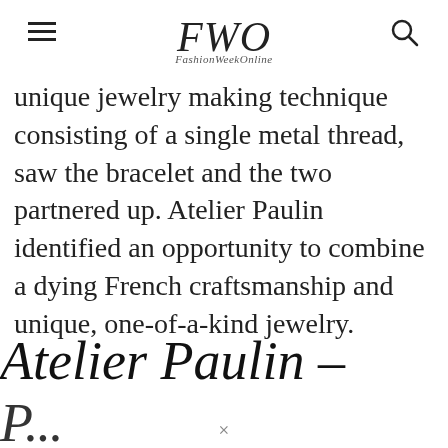FWO FashionWeekOnline
unique jewelry making technique consisting of a single metal thread, saw the bracelet and the two partnered up. Atelier Paulin identified an opportunity to combine a dying French craftsmanship and unique, one-of-a-kind jewelry.
Atelier Paulin –